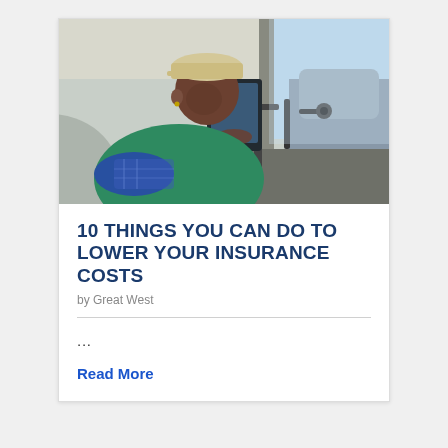[Figure (photo): A woman wearing a cap, plaid shirt, and green vest sits in a vehicle cab using a tablet mounted on a stand. The vehicle interior with dashboard and equipment is visible.]
10 THINGS YOU CAN DO TO LOWER YOUR INSURANCE COSTS
by Great West
...
Read More